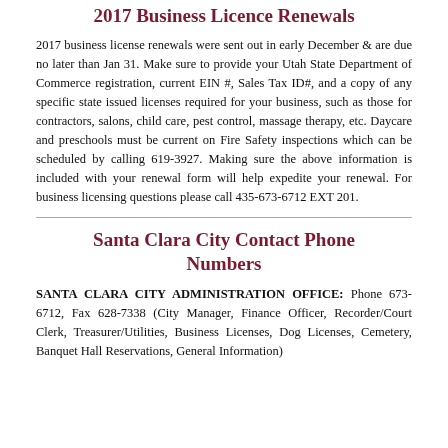2017 Business Licence Renewals
2017 business license renewals were sent out in early December & are due no later than Jan 31. Make sure to provide your Utah State Department of Commerce registration, current EIN #, Sales Tax ID#, and a copy of any specific state issued licenses required for your business, such as those for contractors, salons, child care, pest control, massage therapy, etc. Daycare and preschools must be current on Fire Safety inspections which can be scheduled by calling 619-3927. Making sure the above information is included with your renewal form will help expedite your renewal. For business licensing questions please call 435-673-6712 EXT 201.
Santa Clara City Contact Phone Numbers
SANTA CLARA CITY ADMINISTRATION OFFICE: Phone 673-6712, Fax 628-7338 (City Manager, Finance Officer, Recorder/Court Clerk, Treasurer/Utilities, Business Licenses, Dog Licenses, Cemetery, Banquet Hall Reservations, General Information)